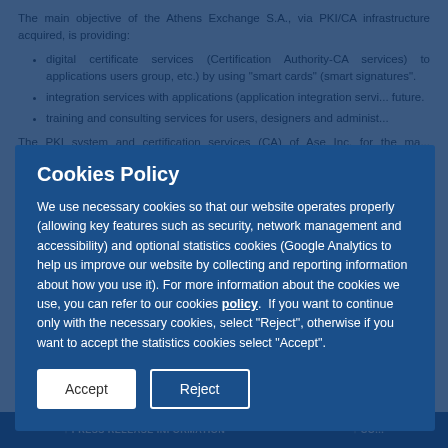The main objective of the Athens Exchange S.A., via PKI/CA infrastructure acquired, is providing:
digital certificate services (Certification Authority-CA services) to applications users group, etc.) by using "smart cards" (smart signatures".
integration services with applications (application integration services) future.
training and consulting services for users, designers and administrators.
The PKI system and certification services (CA) of Ase Inc. for the management of digital certificates recognized and non for digital identities (Electronic Identity [secure]. It should be noted that, in the case of a secure-signature-creation device (e.g. using smart cards as a means creation data, which correspond to a qualified certificate in lieu of a procedures, as defined in (EU) No 910/2014 COUNCIL...
In addition, for the completion of applications, possible strengthening of authorities and regulations.
[Figure (screenshot): Cookies Policy modal dialog overlay on top of page content. Title: Cookies Policy. Body text: We use necessary cookies so that our website operates properly (allowing key features such as security, network management and accessibility) and optional statistics cookies (Google Analytics to help us improve our website by collecting and reporting information about how you use it). For more information about the cookies we use, you can refer to our cookies policy. If you want to continue only with the necessary cookies, select "Reject", otherwise if you want to accept the statistics cookies select "Accept". Two buttons: Accept and Reject.]
↑ PRESS RELEASE INFORMATION      ↑ CO...